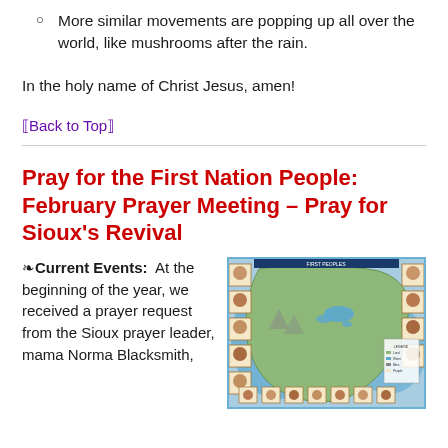More similar movements are popping up all over the world, like mushrooms after the rain.
In the holy name of Christ Jesus, amen!
[Back to Top]
Pray for the First Nation People: February Prayer Meeting – Pray for Sioux's Revival
❧Current Events:  At the beginning of the year, we received a prayer request from the Sioux prayer leader, mama Norma Blacksmith,
[Figure (map): A colorful illustrated map of North America showing First Nation peoples and tribes, with portraits around the borders.]